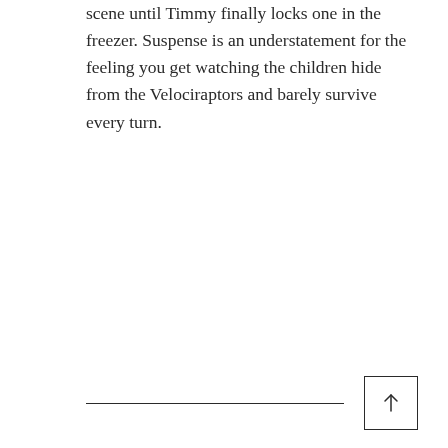scene until Timmy finally locks one in the freezer. Suspense is an understatement for the feeling you get watching the children hide from the Velociraptors and barely survive every turn.
— [scroll-to-top button]